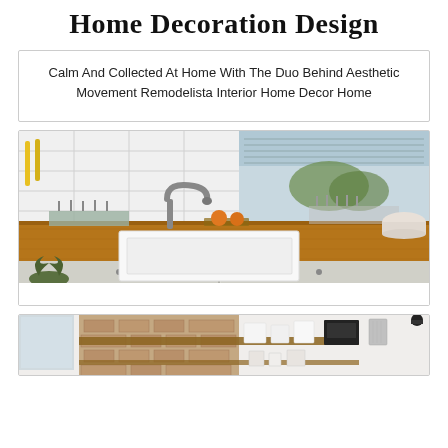Home Decoration Design
Calm And Collected At Home With The Duo Behind Aesthetic Movement Remodelista Interior Home Decor Home
[Figure (photo): Modern kitchen with white subway tile backsplash, wooden countertop, white farmhouse sink, chrome faucet, dish rack, and oranges on cutting board. Window with blinds in background.]
[Figure (photo): Rustic kitchen interior with exposed brick wall, open wooden shelves with white containers and kitchen items, black industrial fixtures.]